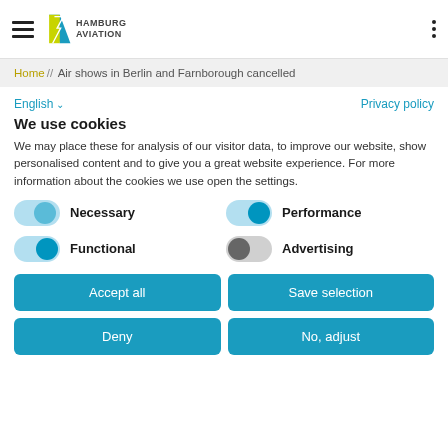Hamburg Aviation
Home // Air shows in Berlin and Farnborough cancelled
English  Privacy policy
We use cookies
We may place these for analysis of our visitor data, to improve our website, show personalised content and to give you a great website experience. For more information about the cookies we use open the settings.
Necessary
Performance
Functional
Advertising
Accept all
Save selection
Deny
No, adjust